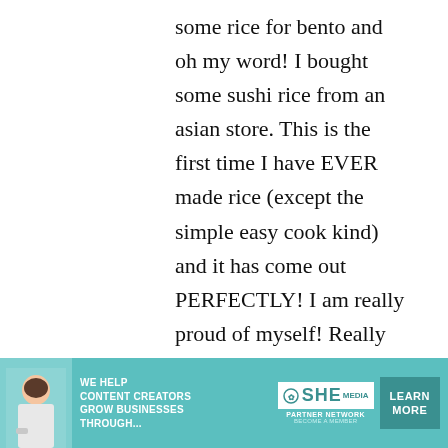some rice for bento and oh my word! I bought some sushi rice from an asian store. This is the first time I have EVER made rice (except the simple easy cook kind) and it has come out PERFECTLY! I am really proud of myself! Really fluffy and just
[Figure (infographic): Advertisement banner for SHE Media Partner Network. Teal/turquoise background with woman photo on left, bold white text 'WE HELP CONTENT CREATORS GROW BUSINESSES THROUGH...', SHE logo in center, and 'LEARN MORE' button on right.]